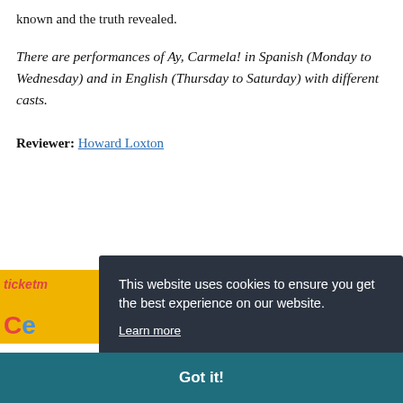known and the truth revealed.
There are performances of Ay, Carmela! in Spanish (Monday to Wednesday) and in English (Thursday to Saturday) with different casts.
Reviewer: Howard Loxton
[Figure (screenshot): Cookie consent overlay dialog on a dark background (#2b3340) reading: 'This website uses cookies to ensure you get the best experience on our website. Learn more' with a teal 'Got it!' button bar at the bottom of the screen, overlapping a yellow banner advertising ticketmaster and other content.]